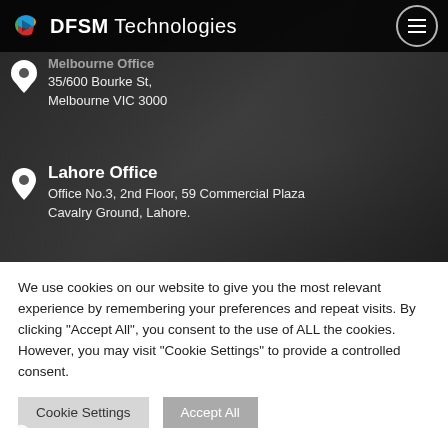DFSM Technologies
Melbourne Office
35/600 Bourke St,
Melbourne VIC 3000
Lahore Office
Office No.3, 2nd Floor, 59 Commercial Plaza
Cavalry Ground, Lahore.
We use cookies on our website to give you the most relevant experience by remembering your preferences and repeat visits. By clicking "Accept All", you consent to the use of ALL the cookies. However, you may visit "Cookie Settings" to provide a controlled consent.
Cookie Settings | Accept All